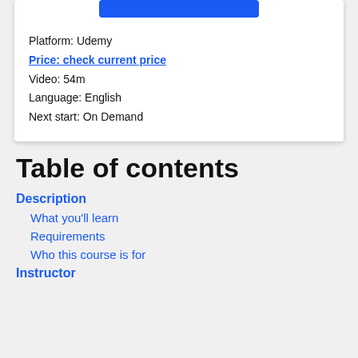[Figure (other): Blue button at top of card]
Platform: Udemy
Price: check current price
Video: 54m
Language: English
Next start: On Demand
Table of contents
Description
What you'll learn
Requirements
Who this course is for
Instructor